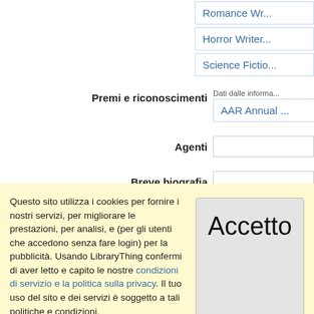Romance Wr...
Horror Writer...
Science Fictio...
Premi e riconoscimenti
Dati dalle informa...
AAR Annual ...
Agenti
Breve biografia
Nota di disambiguazione
Questo sito utilizza i cookies per fornire i nostri servizi, per migliorare le prestazioni, per analisi, e (per gli utenti che accedono senza fare login) per la pubblicità. Usando LibraryThing confermi di aver letto e capito le nostre condizioni di servizio e la politica sulla privacy. Il tuo uso del sito e dei servizi è soggetto a tali politiche e condizioni.
Accetto